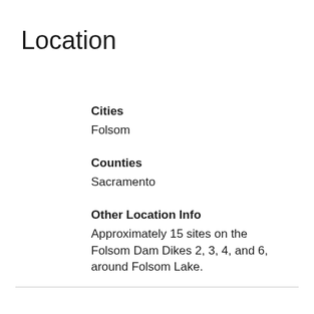Location
Cities
Folsom
Counties
Sacramento
Other Location Info
Approximately 15 sites on the Folsom Dam Dikes 2, 3, 4, and 6, around Folsom Lake.